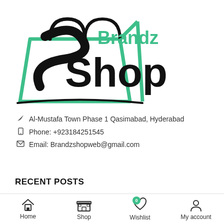[Figure (logo): BrandzShop logo — a teal shopping bag outline with a black S-curve swash inside, with 'Brandz' in teal bold text and 'Shop' in large black bold text]
Al-Mustafa Town Phase 1 Qasimabad, Hyderabad
Phone: +923184251545
Email: Brandzshopweb@gmail.com
RECENT POSTS
The Most Stylish & Beautiful Formal and
Home  Shop  Wishlist  My account